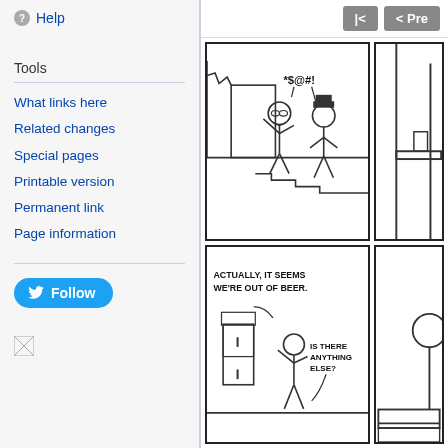Help
Tools
What links here
Related changes
Special pages
Printable version
Permanent link
Page information
Follow
[Figure (illustration): xkcd-style webcomic strip showing two panels top and two panels bottom. Top-left panel: two stick figures, one wearing glasses and gesturing, speech bubble with '*$@#!' censored profanity. Top-right panel: partial view of a door/room. Bottom-left panel: stick figure by a fridge with text 'ACTUALLY, IT SEEMS WE'RE OUT OF BEER.' and another stick figure saying 'IS THERE ANYTHING ELSE?'. Bottom-right: partially visible figure.]